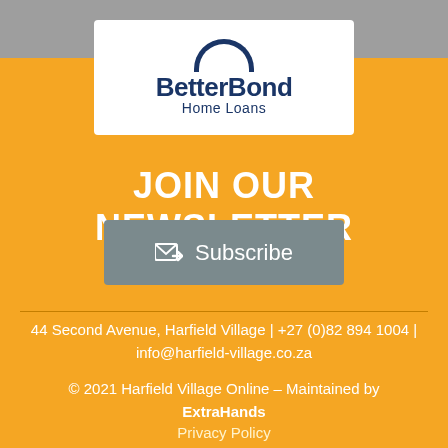[Figure (logo): BetterBond Home Loans logo — navy blue text on white rounded rectangle background with partial circle icon above]
JOIN OUR NEWSLETTER
[Figure (other): Subscribe button with envelope icon on gray background]
44 Second Avenue, Harfield Village | +27 (0)82 894 1004 | info@harfield-village.co.za
© 2021 Harfield Village Online – Maintained by ExtraHands
Privacy Policy